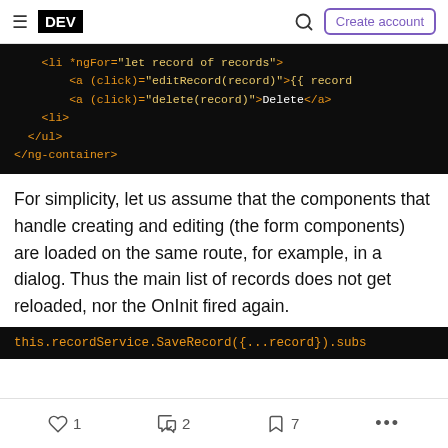DEV | Create account
[Figure (screenshot): Dark code block showing Angular HTML template with ngFor, click event bindings, li and ul closing tags, and ng-container closing tag in orange/yellow monospace font on black background]
For simplicity, let us assume that the components that handle creating and editing (the form components) are loaded on the same route, for example, in a dialog. Thus the main list of records does not get reloaded, nor the OnInit fired again.
[Figure (screenshot): Dark code block showing partial line: this.recordService.SaveRecord({...record}).subs]
1  2  7  ...